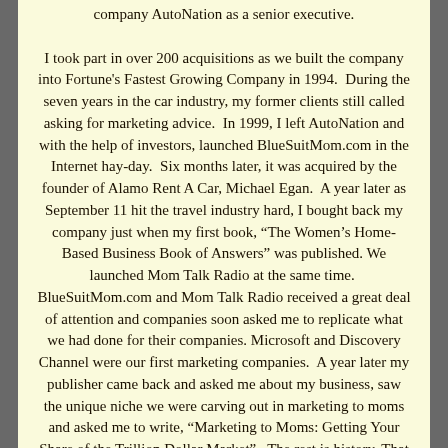company AutoNation as a senior executive.

I took part in over 200 acquisitions as we built the company into Fortune's Fastest Growing Company in 1994. During the seven years in the car industry, my former clients still called asking for marketing advice. In 1999, I left AutoNation and with the help of investors, launched BlueSuitMom.com in the Internet hay-day. Six months later, it was acquired by the founder of Alamo Rent A Car, Michael Egan. A year later as September 11 hit the travel industry hard, I bought back my company just when my first book, "The Women's Home-Based Business Book of Answers" was published. We launched Mom Talk Radio at the same time. BlueSuitMom.com and Mom Talk Radio received a great deal of attention and companies soon asked me to replicate what we had done for their companies. Microsoft and Discovery Channel were our first marketing companies. A year later my publisher came back and asked me about my business, saw the unique niche we were carving out in marketing to moms and asked me to write, "Marketing to Moms: Getting Your Share of the Trillion Dollar Market". The rest is history. That book catapulted BSM Media into the corporate headquarters of Coca Cola, Nestle, Burger King, Chuck E Cheese, and many others. Every time I spoke on the subject, we picked up another